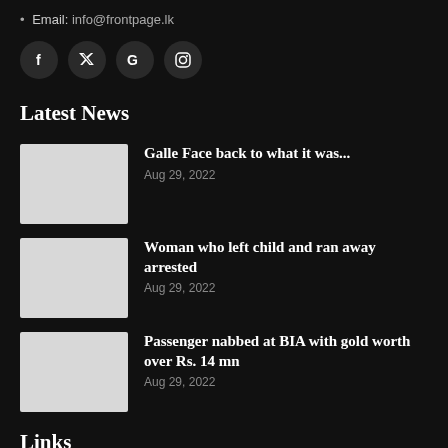• Email: info@frontpage.lk
[Figure (other): Social media icons: Facebook, Twitter, Google, Instagram]
Latest News
Galle Face back to what it was... | Aug 29, 2022
Woman who left child and ran away arrested | Aug 29, 2022
Passenger nabbed at BIA with gold worth over Rs. 14 mn | Aug 29, 2022
Links